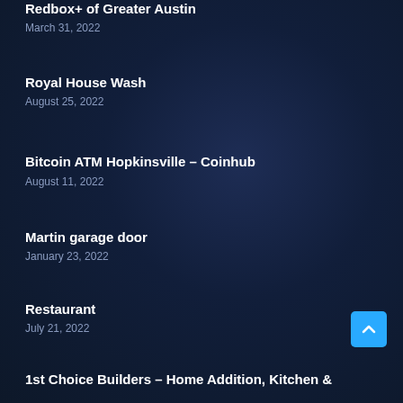Redbox+ of Greater Austin
March 31, 2022
Royal House Wash
August 25, 2022
Bitcoin ATM Hopkinsville – Coinhub
August 11, 2022
Martin garage door
January 23, 2022
Restaurant
July 21, 2022
1st Choice Builders – Home Addition, Kitchen &